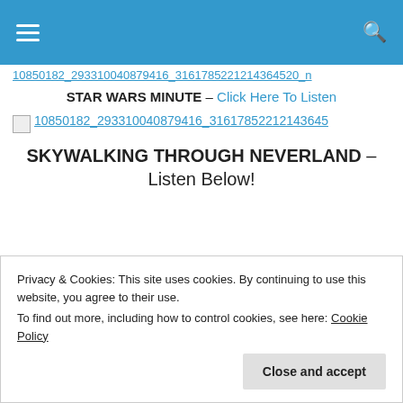[Navigation bar with hamburger menu and search icon]
10850182_293310040879416_3161785221214364520_n
STAR WARS MINUTE – Click Here To Listen
[Figure (photo): Broken image placeholder]
10850182_293310040879416_31617852212143645...
SKYWALKING THROUGH NEVERLAND – Listen Below!
Privacy & Cookies: This site uses cookies. By continuing to use this website, you agree to their use. To find out more, including how to control cookies, see here: Cookie Policy
Close and accept